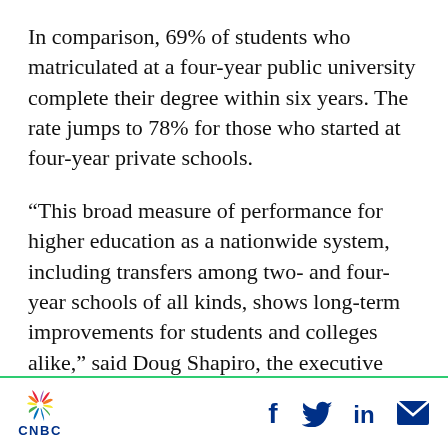In comparison, 69% of students who matriculated at a four-year public university complete their degree within six years. The rate jumps to 78% for those who started at four-year private schools.
“This broad measure of performance for higher education as a nationwide system, including transfers among two- and four-year schools of all kinds, shows long-term improvements for students and colleges alike,” said Doug Shapiro, the executive director of the National Student Clearinghouse Research Center.
[Figure (logo): CNBC logo with peacock icon and social media icons (Facebook, Twitter, LinkedIn, Email)]